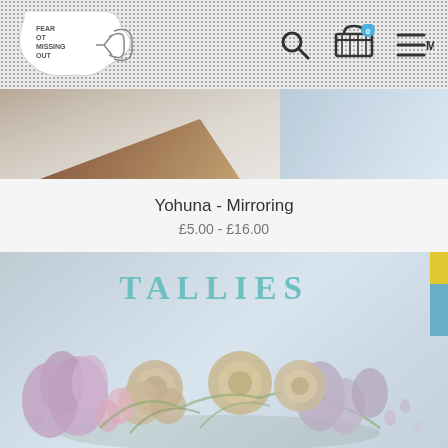Fear of Missing Out — navigation header with logo, search, cart (0), and menu icons
[Figure (photo): Two product images side by side: left shows a close-up of a book or record edge with brown diagonal element, right shows a light blue/white background]
Yohuna - Mirroring
£5.00 - £16.00
[Figure (photo): Album cover for 'Tallies' featuring dried flowers (lavender, roses) arranged on a light blue-grey background, with yellow and blue tabs on the right side, and the word TALLIES in teal serif letters at the top]